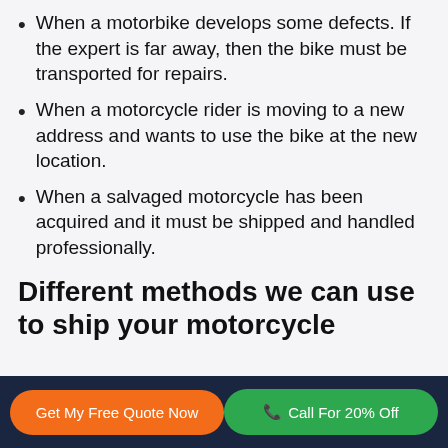When a motorbike develops some defects. If the expert is far away, then the bike must be transported for repairs.
When a motorcycle rider is moving to a new address and wants to use the bike at the new location.
When a salvaged motorcycle has been acquired and it must be shipped and handled professionally.
Different methods we can use to ship your motorcycle
Get My Free Quote Now | Call For 20% Off